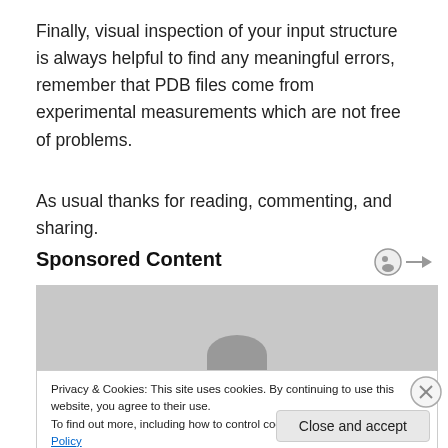Finally, visual inspection of your input structure is always helpful to find any meaningful errors, remember that PDB files come from experimental measurements which are not free of problems.
As usual thanks for reading, commenting, and sharing.
Sponsored Content
[Figure (photo): Sponsored content image with grey background and partial silhouette of a head]
Privacy & Cookies: This site uses cookies. By continuing to use this website, you agree to their use.
To find out more, including how to control cookies, see here: Cookie Policy
Close and accept